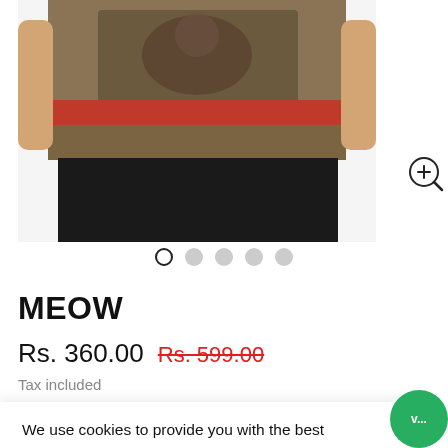[Figure (photo): Product photo of a person wearing a brown/olive graphic t-shirt with a cat design and red stripe, partially cropped. Zoom magnifier icon in top right.]
● ● ● ● ●  (carousel dots, first active)
MEOW
Rs. 360.00  Rs. 599.00 (strikethrough, red)
Tax included
We use cookies to provide you with the best experience on our website.  Learn more
Decline
Allow Cookies